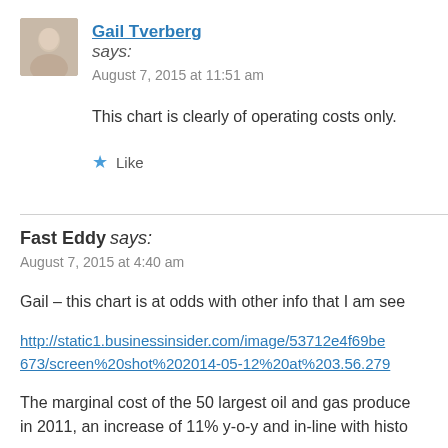Gail Tverberg says: August 7, 2015 at 11:51 am
This chart is clearly of operating costs only.
Like
Fast Eddy says: August 7, 2015 at 4:40 am
Gail – this chart is at odds with other info that I am see
http://static1.businessinsider.com/image/53712e4f69be 673/screen%20shot%202014-05-12%20at%203.56.279
The marginal cost of the 50 largest oil and gas produce in 2011, an increase of 11% y-o-y and in-line with histo